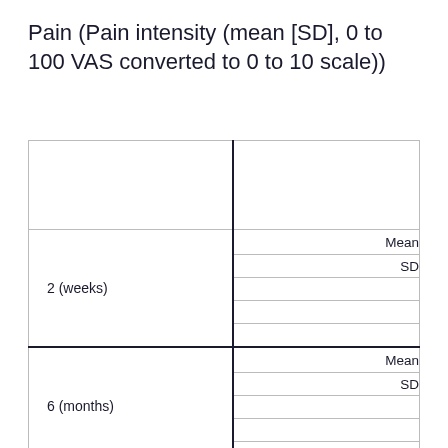Pain (Pain intensity (mean [SD], 0 to 100 VAS converted to 0 to 10 scale))
|  |  |
| --- | --- |
|  |  |
| 2 (weeks) | Mean |
|  | SD |
|  |  |
|  |  |
| 6 (months) | Mean |
|  | SD |
|  |  |
|  |  |
|  |  |